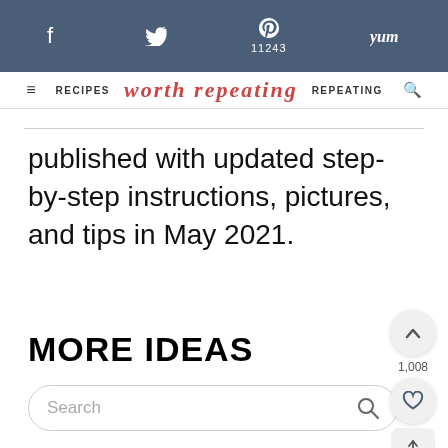f  [twitter]  p 11243  Yum  | RECIPES  [logo: Worth Repeating]  REPEATING  [search]
published with updated step-by-step instructions, pictures, and tips in May 2021.
MORE IDEAS
Search